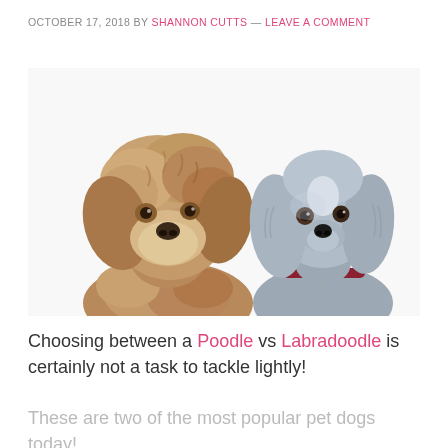OCTOBER 17, 2018 BY SHANNON CUTTS — LEAVE A COMMENT
[Figure (photo): Two dogs side by side on white background: a fluffy golden-brown Labradoodle on the left and a silver-grey groomed Poodle with a red collar on the right.]
Choosing between a Poodle vs Labradoodle is certainly not a task to tackle lightly!
These are two of the most popular pet dogs today!